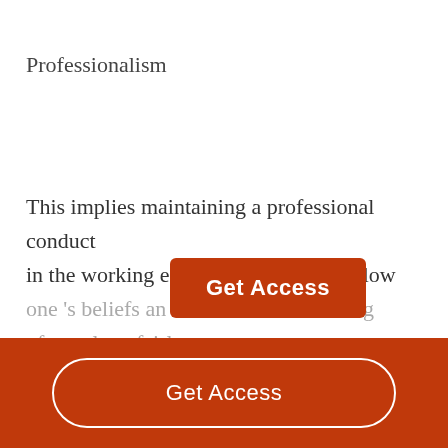Professionalism
This implies maintaining a professional conduct in the working e... ld not allow one 's beliefs an... ate the treating of people unfairly or....
[Figure (other): Orange 'Get Access' button overlaid on the body text]
[Figure (other): Bottom orange bar with a white-outlined rounded 'Get Access' button]